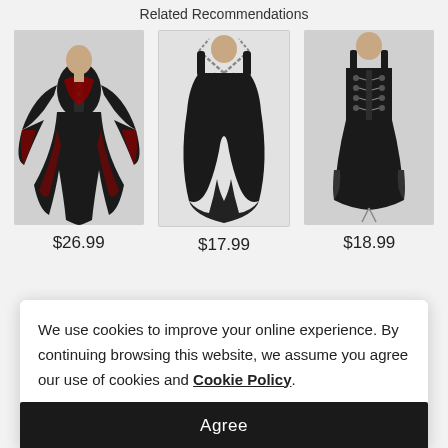Related Recommendations
[Figure (photo): Black and red gothic long-sleeve dress with lace-up front and flared sleeves]
$26.99
[Figure (photo): Black gothic tank top with chain harness straps and high-low hem]
$17.99
[Figure (photo): Black sleeveless gothic corset dress with lace-up front and grommets]
$18.99
We use cookies to improve your online experience. By continuing browsing this website, we assume you agree our use of cookies and Cookie Policy.
Agree